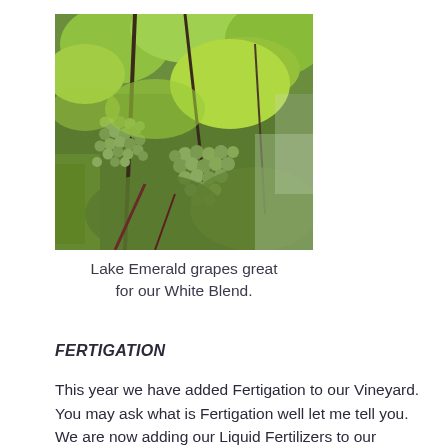[Figure (photo): Clusters of green grapes hanging on grapevines with large leaves visible in the background, outdoor vineyard scene]
Lake Emerald grapes great for our White Blend.
FERTIGATION
This year we have added Fertigation to our Vineyard.  You may ask what is Fertigation well let me tell you.  We are now adding our Liquid Fertilizers to our irrigation system so that we Fertilize our vines as well as giving them the